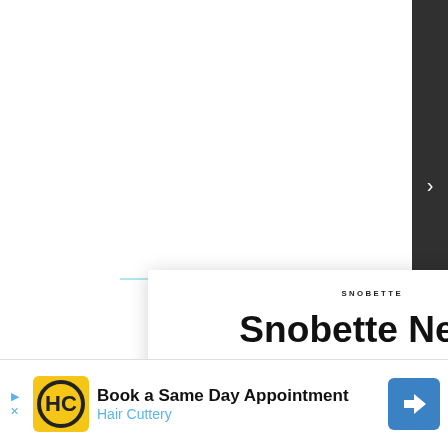[Figure (screenshot): Snobette newsletter subscription modal overlay on a webpage. Contains the Snobette logo text, a close (X) button, title 'Snobette News', description text about news finance and social media updates, an email input field, and a Subscribe button. Powered by Substack. Below the modal is an advertisement for Hair Cuttery.]
Snobette News
News, finance and social media updates on the streetwear and sneaker space as edited by Snobette EIC Lois Sakany
Type your email…
Subscribe
≡substack
Book a Same Day Appointment Hair Cuttery